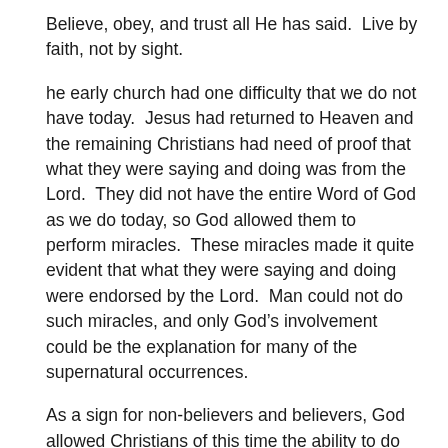Believe, obey, and trust all He has said.  Live by faith, not by sight.
he early church had one difficulty that we do not have today.  Jesus had returned to Heaven and the remaining Christians had need of proof that what they were saying and doing was from the Lord.  They did not have the entire Word of God as we do today, so God allowed them to perform miracles.  These miracles made it quite evident that what they were saying and doing were endorsed by the Lord.  Man could not do such miracles, and only God’s involvement could be the explanation for many of the supernatural occurrences.
As a sign for non-believers and believers, God allowed Christians of this time the ability to do several supernatural things.  He gave different Christians some of the nine “sign gifts,” described in I Corinthians 12:3-11: